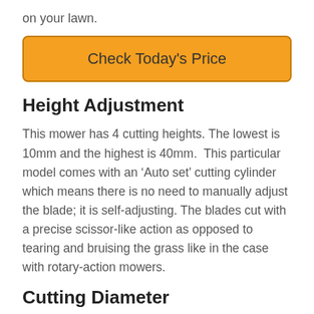on your lawn.
Check Today's Price
Height Adjustment
This mower has 4 cutting heights. The lowest is 10mm and the highest is 40mm.  This particular model comes with an ‘Auto set’ cutting cylinder which means there is no need to manually adjust the blade; it is self-adjusting. The blades cut with a precise scissor-like action as opposed to tearing and bruising the grass like in the case with rotary-action mowers.
Cutting Diameter